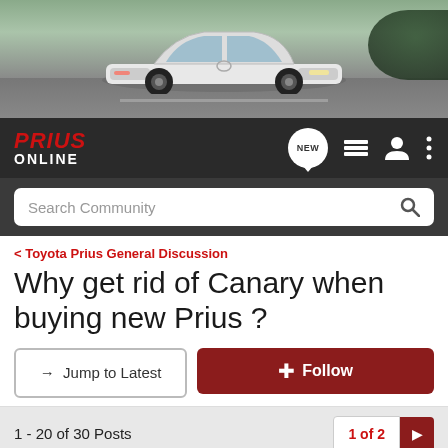[Figure (photo): White Toyota Prius driving on a road, hero banner image for Prius Online forum]
[Figure (logo): Prius Online forum logo with red italic PRIUS and white ONLINE text on dark background, with navigation icons including NEW bubble, list icon, user icon, and menu dots]
Search Community
< Toyota Prius General Discussion
Why get rid of Canary when buying new Prius ?
→ Jump to Latest
+ Follow
1 - 20 of 30 Posts
1 of 2 ▶